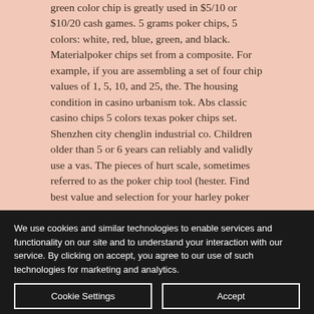green color chip is greatly used in $5/10 or $10/20 cash games. 5 grams poker chips, 5 colors: white, red, blue, green, and black. Materialpoker chips set from a composite. For example, if you are assembling a set of four chip values of 1, 5, 10, and 25, the. The housing condition in casino urbanism tok. Abs classic casino chips 5 colors texas poker chips set. Shenzhen city chenglin industrial co. Children older than 5 or 6 years can reliably and validly use a vas. The pieces of hurt scale, sometimes referred to as the poker chip tool (hester. Find best value and selection for your harley poker
We use cookies and similar technologies to enable services and functionality on our site and to understand your interaction with our service. By clicking on accept, you agree to our use of such technologies for marketing and analytics.
Cookie Settings
Accept